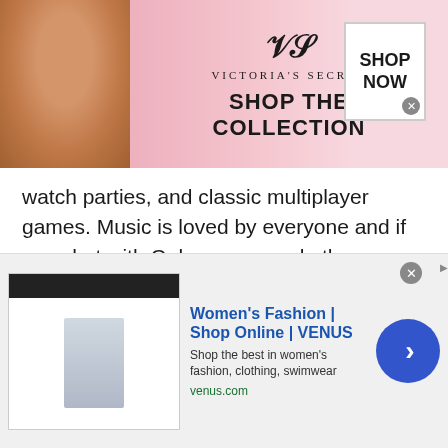[Figure (other): Victoria's Secret advertisement banner with a woman's photo on the left, VS logo and brand name in center, 'SHOP THE COLLECTION' text, and a 'SHOP NOW' button on the right with pink background.]
watch parties, and classic multiplayer games. Music is loved by everyone and if you chat with Gabonese people then you should consider taking some music classes from them. The reason being Gabon is considered the home of classical music. Every Gabonese is literally filled with the talent of music inside them. You can use the talkwithstranger's platform to take music classes online.
Since the world was standstill during the Covid-19
[Figure (other): Bottom advertisement for Women's Fashion | Shop Online | VENUS. Shows a thumbnail of the website, title in blue, description 'Shop the best in women's fashion, clothing, swimwear', url 'venus.com', and a blue arrow button on the right.]